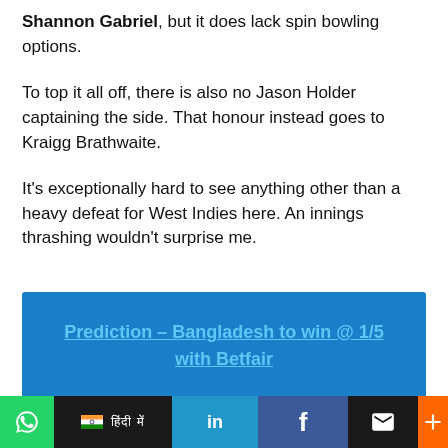Shannon Gabriel, but it does lack spin bowling options.
To top it all off, there is also no Jason Holder captaining the side. That honour instead goes to Kraigg Brathwaite.
It's exceptionally hard to see anything other than a heavy defeat for West Indies here. An innings thrashing wouldn't surprise me.
[Figure (other): Blue call-to-action box with link text: Prediction – Bangladesh to win @ 1/5 with Betfair]
[Figure (infographic): Social sharing bar with buttons: WhatsApp (green), Hindi flag button (dark), LinkedIn (blue), Facebook (dark blue), Email (dark), More/Plus (orange)]